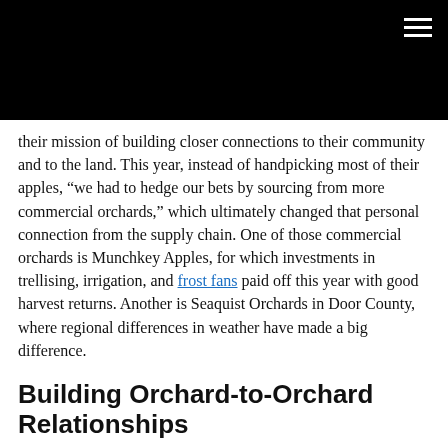their mission of building closer connections to their community and to the land. This year, instead of handpicking most of their apples, “we had to hedge our bets by sourcing from more commercial orchards,” which ultimately changed that personal connection from the supply chain. One of those commercial orchards is Munchkey Apples, for which investments in trellising, irrigation, and frost fans paid off this year with good harvest returns. Another is Seaquist Orchards in Door County, where regional differences in weather have made a big difference.
Building Orchard-to-Orchard Relationships
To be clear, these orchards are still Wisconsin-based, family-owned businesses. Rather than suggesting disconnections for Brix, relying on these orchards represents readjusting what those connections mean. This year, Brix depended on different